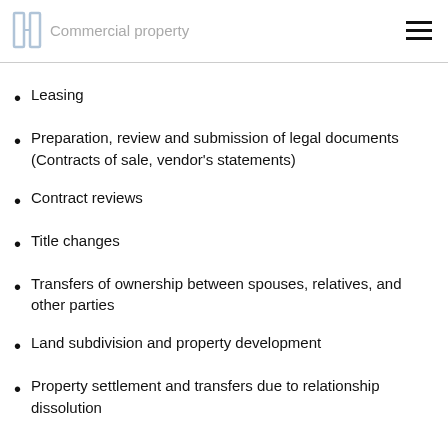Commercial property
Leasing
Preparation, review and submission of legal documents (Contracts of sale, vendor's statements)
Contract reviews
Title changes
Transfers of ownership between spouses, relatives, and other parties
Land subdivision and property development
Property settlement and transfers due to relationship dissolution